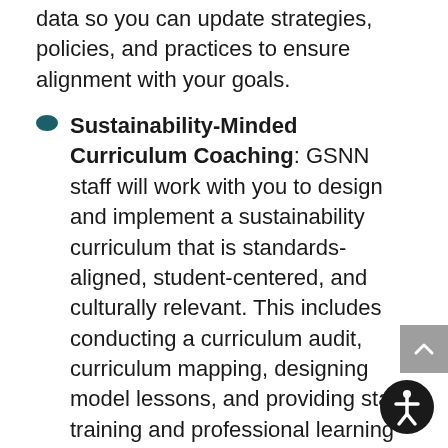data so you can update strategies, policies, and practices to ensure alignment with your goals.
Sustainability-Minded Curriculum Coaching: GSNN staff will work with you to design and implement a sustainability curriculum that is standards-aligned, student-centered, and culturally relevant. This includes conducting a curriculum audit, curriculum mapping, designing model lessons, and providing staff training and professional learning opportunities.
Sustainable and Just Culture